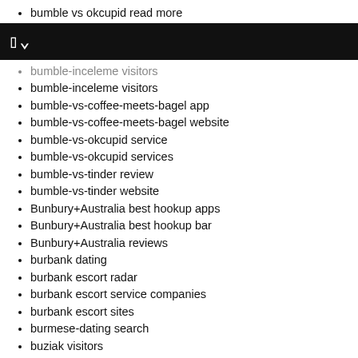bumble vs okcupid read more
[Figure (other): Black navigation bar with white logo/icon showing bracket and checkmark]
bumble-inceleme visitors
bumble-vs-coffee-meets-bagel app
bumble-vs-coffee-meets-bagel website
bumble-vs-okcupid service
bumble-vs-okcupid services
bumble-vs-tinder review
bumble-vs-tinder website
Bunbury+Australia best hookup apps
Bunbury+Australia best hookup bar
Bunbury+Australia reviews
burbank dating
burbank escort radar
burbank escort service companies
burbank escort sites
burmese-dating search
buziak visitors
By ethnicity app
By ethnicity conseils pour un
By ethnicity online
By ethnicity only consumer reports
By ethnicity review
by ethnicity reviews